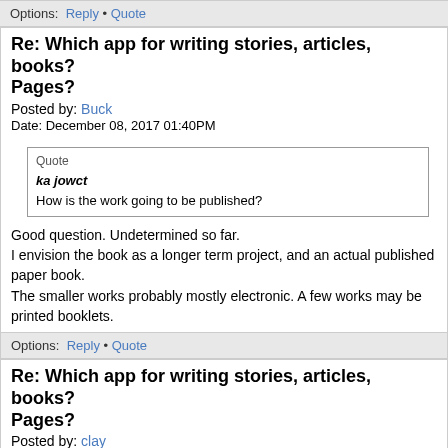Options: Reply • Quote
Re: Which app for writing stories, articles, books? Pages?
Posted by: Buck
Date: December 08, 2017 01:40PM
Quote
ka jowct
How is the work going to be published?
Good question. Undetermined so far.
I envision the book as a longer term project, and an actual published paper book.
The smaller works probably mostly electronic. A few works may be printed booklets.
Options: Reply • Quote
Re: Which app for writing stories, articles, books? Pages?
Posted by: clay
Date: December 08, 2017 01:53PM
doesn't really matter, as long as she doesn't save the files in a super-obscure format that can't be read by anything else.

Word is at least ubiquitous at this point. Plain text files are good too. Pages is fine, but I'm not sure if there's anything else out there that can easily open them. Apple does have a history of abandoning...